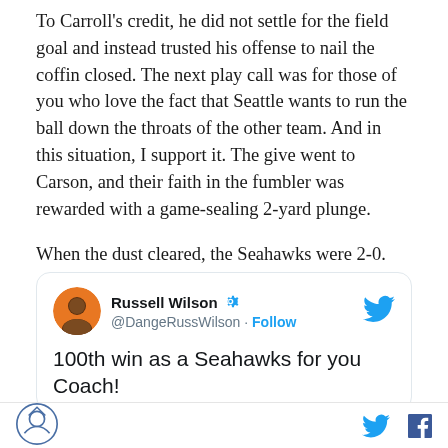To Carroll's credit, he did not settle for the field goal and instead trusted his offense to nail the coffin closed. The next play call was for those of you who love the fact that Seattle wants to run the ball down the throats of the other team. And in this situation, I support it. The give went to Carson, and their faith in the fumbler was rewarded with a game-sealing 2-yard plunge.
When the dust cleared, the Seahawks were 2-0.
[Figure (screenshot): Embedded tweet from Russell Wilson (@DangeRussWilson) with Twitter blue bird icon, verified badge, Follow button, and partial tweet text reading '100th win as a Seahawks for you Coach!']
Site logo icon, Twitter bird icon, Facebook f icon